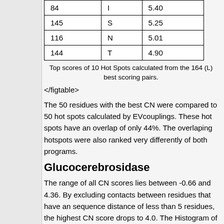| 84 | I | 5.40 |
| 145 | S | 5.25 |
| 116 | N | 5.01 |
| 144 | T | 4.90 |
Top scores of 10 Hot Spots calculated from the 164 (L) best scoring pairs.
</figtable>
The 50 residues with the best CN were compared to 50 hot spots calculated by EVcouplings. These hot spots have an overlap of only 44%. The overlaping hotspots were also ranked very differently of both programs.
Glucocerebrosidase
The range of all CN scores lies between -0.66 and 4.36. By excluding contacts between residues that have an sequence distance of less than 5 residues, the highest CN score drops to 4.0. The Histogram of the CN score frequencey distribution has a very high gradient